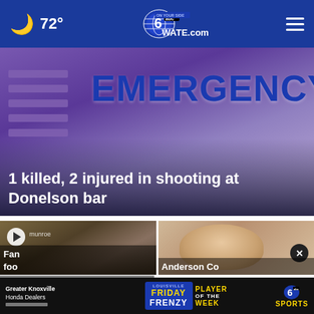🌙 72° | WATE.com | Navigation menu
[Figure (photo): Emergency room sign with purple/blue background and horizontal stripes on the left side]
1 killed, 2 injured in shooting at Donelson bar
[Figure (photo): Video thumbnail of a crowd of people outdoors with play button overlay, labeled 'munroe']
[Figure (photo): Close-up portrait photo of a smiling middle-aged man with short gray hair, with a close (X) button]
Fan...foo...player's fight
Anderson Co...
[Figure (infographic): Ad banner: Greater Knoxville Honda Dealers | Friday Frenzy Player of the Week | 6 abc Sports]